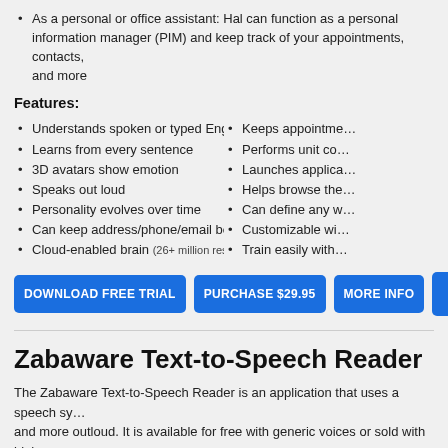As a personal or office assistant: Hal can function as a personal information manager (PIM) and keep track of your appointments, contacts, and more
Features:
Understands spoken or typed English
Learns from every sentence
3D avatars show emotion
Speaks out loud
Personality evolves over time
Can keep address/phone/email book
Cloud-enabled brain (26+ million responses)
Keeps appointments
Performs unit conversion
Launches applications
Helps browse the web
Can define any word
Customizable with plugins
Train easily with voice
DOWNLOAD FREE TRIAL | PURCHASE $29.95 | MORE INFO
Zabaware Text-to-Speech Reader
The Zabaware Text-to-Speech Reader is an application that uses a speech synthesizer to read text and more outloud. It is available for free with generic voices or sold with high quality voices at the lowest prices in the industry.